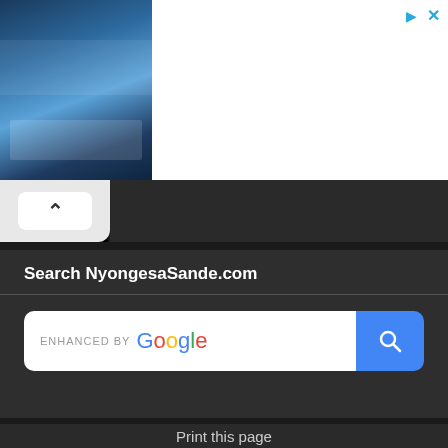[Figure (screenshot): Advertisement banner showing a luxury hotel with pool, VOLA logo, 'Book Online' text and 'Open' button]
Search NyongesaSande.com
[Figure (screenshot): Google enhanced search bar with blue search button]
Print this page